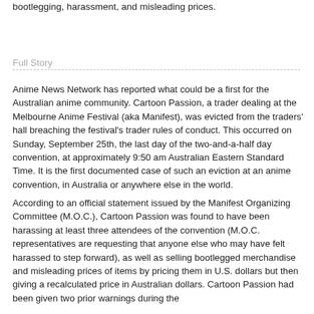bootlegging, harassment, and misleading prices.
Full Story
Anime News Network has reported what could be a first for the Australian anime community. Cartoon Passion, a trader dealing at the Melbourne Anime Festival (aka Manifest), was evicted from the traders' hall breaching the festival's trader rules of conduct. This occurred on Sunday, September 25th, the last day of the two-and-a-half day convention, at approximately 9:50 am Australian Eastern Standard Time. It is the first documented case of such an eviction at an anime convention, in Australia or anywhere else in the world.
According to an official statement issued by the Manifest Organizing Committee (M.O.C.), Cartoon Passion was found to have been harassing at least three attendees of the convention (M.O.C. representatives are requesting that anyone else who may have felt harassed to step forward), as well as selling bootlegged merchandise and misleading prices of items by pricing them in U.S. dollars but then giving a recalculated price in Australian dollars. Cartoon Passion had been given two prior warnings during the